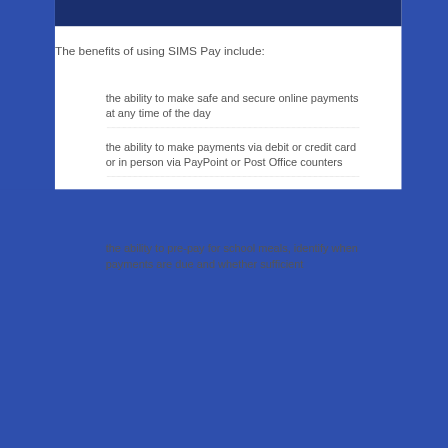The benefits of using SIMS Pay include:
the ability to make safe and secure online payments at any time of the day
the ability to make payments via debit or credit card or in person via PayPoint or Post Office counters
the ability to pre-pay for school meals, identify when payments are due and whether sufficient